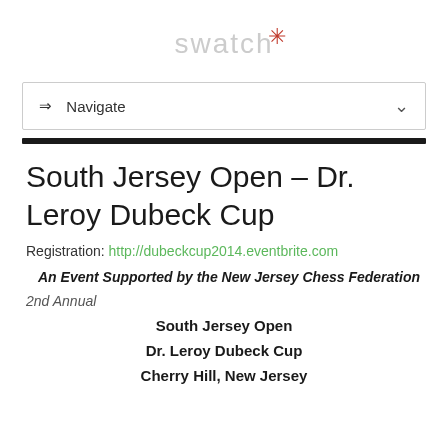[Figure (logo): Swatch logo with asterisk in red]
⇒ Navigate
South Jersey Open – Dr. Leroy Dubeck Cup
Registration: http://dubeckcup2014.eventbrite.com
An Event Supported by the New Jersey Chess Federation
2nd Annual
South Jersey Open
Dr. Leroy Dubeck Cup
Cherry Hill, New Jersey